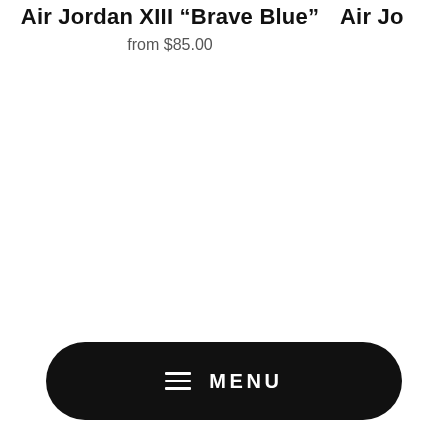Air Jordan XIII “Brave Blue”
from $85.00
Air Jo
[Figure (other): Black rounded pill-shaped menu button with hamburger icon and MENU text in white]